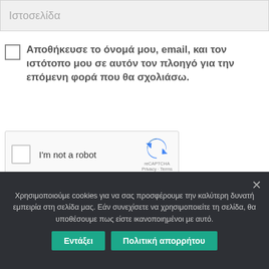Ιστοσελίδα
Αποθήκευσε το όνομά μου, email, και τον ιστότοπο μου σε αυτόν τον πλοηγό για την επόμενη φορά που θα σχολιάσω.
[Figure (screenshot): reCAPTCHA widget with checkbox labeled 'I'm not a robot' and reCAPTCHA logo]
Δημοσίευση σχολίου
Χρησιμοποιούμε cookies για να σας προσφέρουμε την καλύτερη δυνατή εμπειρία στη σελίδα μας. Εάν συνεχίσετε να χρησιμοποιείτε τη σελίδα, θα υποθέσουμε πως είστε ικανοποιημένοι με αυτό.
Εντάξει
Πολιτική απορρήτου